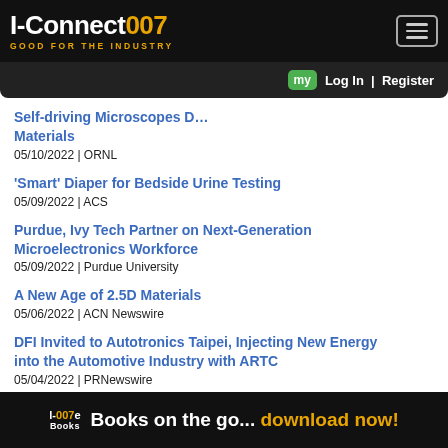I-Connect007 | GOOD FOR THE INDUSTRY
Self-driving Microscopes D... Materials | 05/10/2022 | ORNL
'Smart' Diaper for Bedside Urine Testing | 05/09/2022 | ACS
Purdue, Ivy Tech Partner on Next-Generation Microelectronics Workforce | 05/09/2022 | Purdue University
A New Age of 2.5D Materials | 05/06/2022 | ACN Newswire
DFI Invited to Autotronics Taipei, Injecting New Energy into the Automotive Industry with ARTC | 05/04/2022 | PRNewswire
I-007e Books | Books on the go... download now!